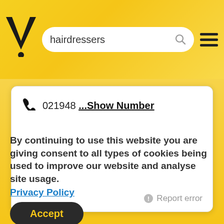[Figure (screenshot): Yellow background header with stylized V logo (Yell.com), search bar containing 'hairdressers', and hamburger menu icon]
021948 ...Show Number
Report error
By continuing to use this website you are giving consent to all types of cookies being used to improve our website and analyse site usage.
Privacy Policy
Accept